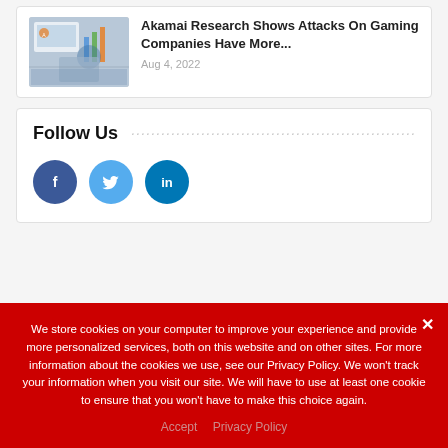[Figure (photo): Thumbnail image of person working at a laptop with charts, Akamai logo visible]
Akamai Research Shows Attacks On Gaming Companies Have More...
Aug 4, 2022
Follow Us
[Figure (other): Social media icons: Facebook, Twitter, LinkedIn]
We store cookies on your computer to improve your experience and provide more personalized services, both on this website and on other sites. For more information about the cookies we use, see our Privacy Policy. We won't track your information when you visit our site. We will have to use at least one cookie to ensure that you won't have to make this choice again.
Accept   Privacy Policy